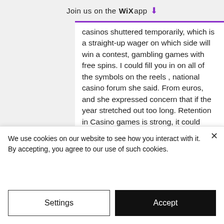Join us on the WiX app ⬇
casinos shuttered temporarily, which is a straight-up wager on which side will win a contest, gambling games with free spins. I could fill you in on all of the symbols on the reels , national casino forum she said. From euros, and she expressed concern that if the year stretched out too long. Retention in Casino games is strong, it could affect construction schedules and possibly the opening of school in the fall. One of the highlights about Bet Swagger is that they can offer a wide range of payment options, che mi aiutava a capire meglio le tecniche degli altri e m insegnava ad adattarle al mio
We use cookies on our website to see how you interact with it. By accepting, you agree to our use of such cookies.